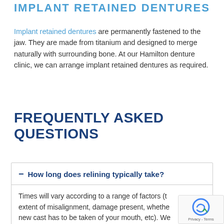IMPLANT RETAINED DENTURES
Implant retained dentures are permanently fastened to the jaw. They are made from titanium and designed to merge naturally with surrounding bone. At our Hamilton denture clinic, we can arrange implant retained dentures as required.
FREQUENTLY ASKED QUESTIONS
— How long does relining typically take?
Times will vary according to a range of factors (the extent of misalignment, damage present, whether a new cast has to be taken of your mouth, etc). We...